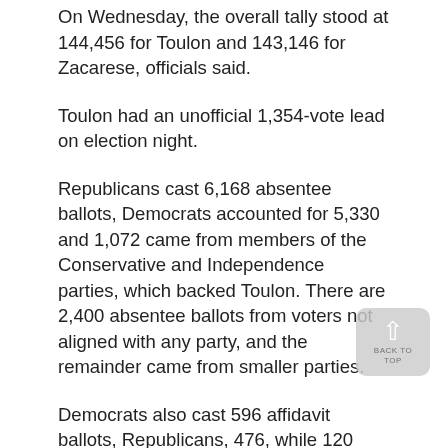On Wednesday, the overall tally stood at 144,456 for Toulon and 143,146 for Zacarese, officials said.
Toulon had an unofficial 1,354-vote lead on election night.
Republicans cast 6,168 absentee ballots, Democrats accounted for 5,330 and 1,072 came from members of the Conservative and Independence parties, which backed Toulon. There are 2,400 absentee ballots from voters not aligned with any party, and the remainder came from smaller parties.
Democrats also cast 596 affidavit ballots, Republicans, 476, while 120 came from the minor parties. Another 375 affidavit votes came from unaligned voters.